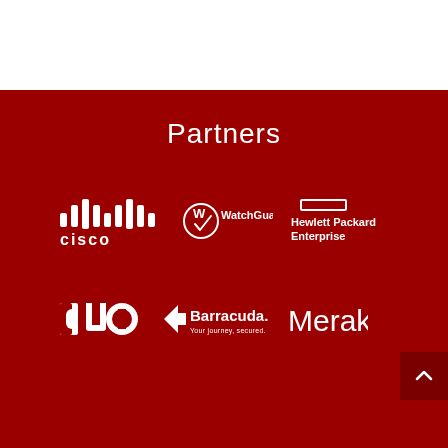Partners
[Figure (logo): Cisco logo - white on dark red background]
[Figure (logo): WatchGuard logo - white on dark red background]
[Figure (logo): Hewlett Packard Enterprise logo - white on dark red background]
[Figure (logo): Duo logo - white on dark red background]
[Figure (logo): Barracuda logo - white on dark red background]
[Figure (logo): Meraki logo - white on dark red background]